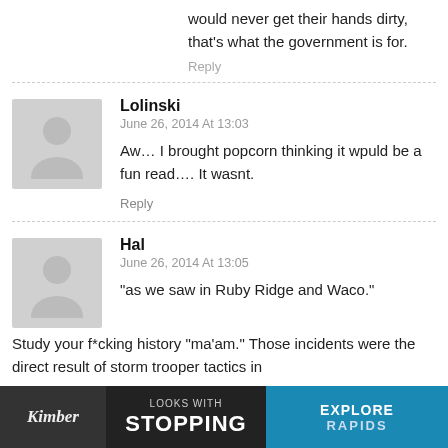would never get their hands dirty, that's what the government is for.
Reply
Lolinski
June 26, 2014 At 13:03
Aw… I brought popcorn thinking it wpuld be a fun read…. It wasnt.
Reply
Hal
June 26, 2014 At 13:05
"as we saw in Ruby Ridge and Waco."
Study your f*cking history "ma'am." Those incidents were the direct result of storm trooper tactics in ... force. A ... e situations
[Figure (screenshot): Advertisement banner for Kimber featuring 'LOOKS WITH STOPPING' text and 'EXPLORE RAPIDS' button in blue]